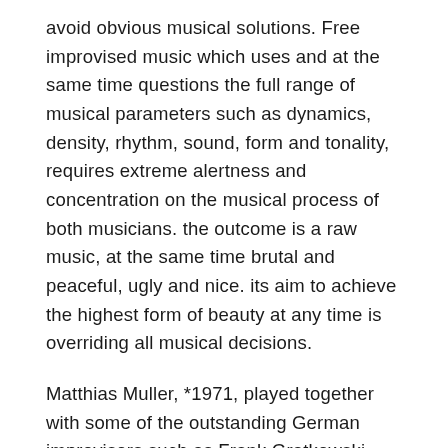avoid obvious musical solutions. Free improvised music which uses and at the same time questions the full range of musical parameters such as dynamics, density, rhythm, sound, form and tonality, requires extreme alertness and concentration on the musical process of both musicians. the outcome is a raw music, at the same time brutal and peaceful, ugly and nice. its aim to achieve the highest form of beauty at any time is overriding all musical decisions.
Matthias Muller, *1971, played together with some of the outstanding German improvisors such as Frank Gratkowski, Matthias Schubert, Gebhard Ullmann and Rudi Mahall as well as Albert Mangelsdoff. His CD, released on Jazzwerkstatt...